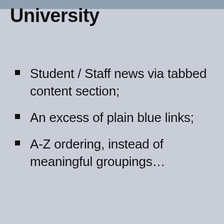London Metropolitan University
Student / Staff news via tabbed content section;
An excess of plain blue links;
A-Z ordering, instead of meaningful groupings…